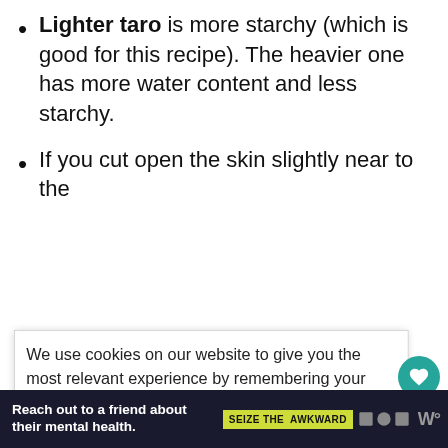Lighter taro is more starchy (which is good for this recipe). The heavier one has more water content and less starchy.
If you cut open the skin slightly near to the [obscured by overlay] will notice a [obscured] m coming [obscured] powder [obscured] content of
We use cookies on our website to give you the most relevant experience by remembering your preferences and repeat visits. By clicking “ACCEPT ALL”, you consent to the use of ALL the cookies. However, you may visit “Cookie Settings” to provide a controlled consent.
Cookie Settings   REJECT ALL
ACCEPT ALL
[Figure (infographic): Ad banner: dark background with text 'Reach out to a friend about their mental health.' and 'SEIZE THE AWKWARD' yellow tag with icons]
903